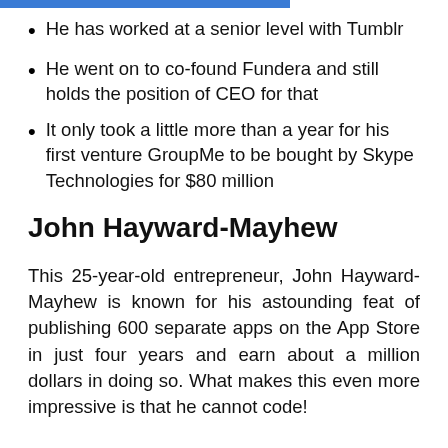He has worked at a senior level with Tumblr
He went on to co-found Fundera and still holds the position of CEO for that
It only took a little more than a year for his first venture GroupMe to be bought by Skype Technologies for $80 million
John Hayward-Mayhew
This 25-year-old entrepreneur, John Hayward-Mayhew is known for his astounding feat of publishing 600 separate apps on the App Store in just four years and earn about a million dollars in doing so. What makes this even more impressive is that he cannot code!